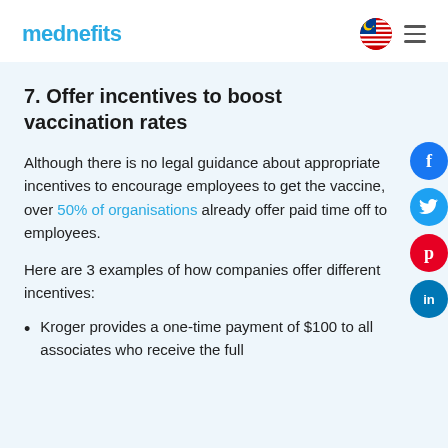mednefits
7. Offer incentives to boost vaccination rates
Although there is no legal guidance about appropriate incentives to encourage employees to get the vaccine, over 50% of organisations already offer paid time off to employees.
Here are 3 examples of how companies offer different incentives:
Kroger provides a one-time payment of $100 to all associates who receive the full [course of the vaccine]